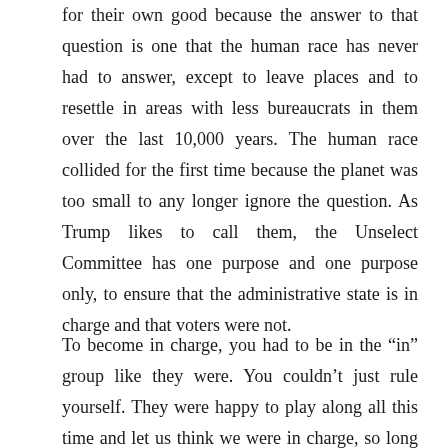for their own good because the answer to that question is one that the human race has never had to answer, except to leave places and to resettle in areas with less bureaucrats in them over the last 10,000 years. The human race collided for the first time because the planet was too small to any longer ignore the question. As Trump likes to call them, the Unselect Committee has one purpose and one purpose only, to ensure that the administrative state is in charge and that voters were not.
To become in charge, you had to be in the “in” group like they were. You couldn’t just rule yourself. They were happy to play along all this time and let us think we were in charge, so long as they pulled the strings.